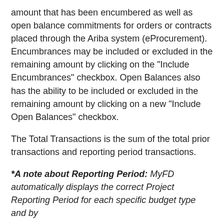amount that has been encumbered as well as open balance commitments for orders or contracts placed through the Ariba system (eProcurement). Encumbrances may be included or excluded in the remaining amount by clicking on the "Include Encumbrances" checkbox. Open Balances also has the ability to be included or excluded in the remaining amount by clicking on a new "Include Open Balances" checkbox.
The Total Transactions is the sum of the total prior transactions and reporting period transactions.
*A note about Reporting Period: MyFD automatically displays the correct Project Reporting Period for each specific budget type and by